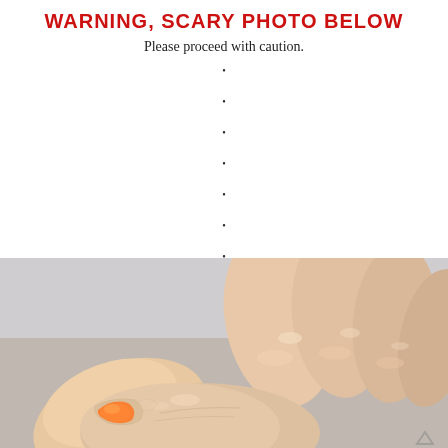WARNING, SCARY PHOTO BELOW
Please proceed with caution.
[Figure (photo): Close-up photo of dry, peeling skin on fingers, with an orange object being peeled away from the skin surface. The hand shows rough, flaky skin texture with dry patches.]